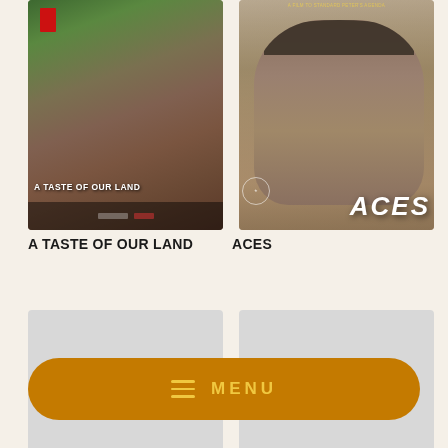[Figure (photo): Movie poster for 'A Taste of Our Land' showing people in a mountainous landscape with a red flag, earthy tones]
[Figure (photo): Movie poster for 'ACES' showing a close-up of a man's face with a beanie hat, large ACES text at bottom right]
A TASTE OF OUR LAND
ACES
[Figure (photo): Loading placeholder image, light gray rectangle]
[Figure (photo): Loading placeholder image, light gray rectangle]
MENU